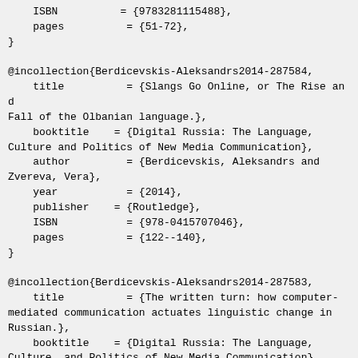ISBN          = {9783281115488},
    pages          = {51-72},
}

@incollection{Berdicevskis-Aleksandrs2014-287584,
    title          = {Slangs Go Online, or The Rise and Fall of the Olbanian language.},
    booktitle    = {Digital Russia: The Language, Culture and Politics of New Media Communication},
    author         = {Berdicevskis, Aleksandrs and Zvereva, Vera},
    year           = {2014},
    publisher    = {Routledge},
    ISBN           = {978-0415707046},
    pages          = {122--140},
}

@incollection{Berdicevskis-Aleksandrs2014-287583,
    title          = {The written turn: how computer-mediated communication actuates linguistic change in Russian.},
    booktitle    = {Digital Russia: The Language, Culture, and Politics of New Media Communication},
    author         = {Berdicevskis, Aleksandrs},
    year           = {2014},
    publisher    = {Routledge},